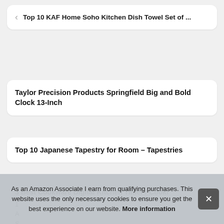< Top 10 KAF Home Soho Kitchen Dish Towel Set of ...
Taylor Precision Products Springfield Big and Bold Clock 13-Inch
Top 10 Japanese Tapestry for Room – Tapestries
3 Best Cookware Digital Kitchen Timer / Cooking
1
A
S
As an Amazon Associate I earn from qualifying purchases. This website uses the only necessary cookies to ensure you get the best experience on our website. More information